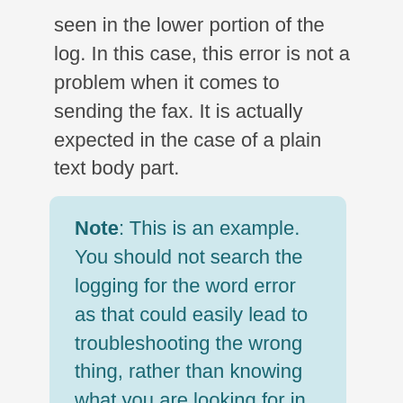seen in the lower portion of the log. In this case, this error is not a problem when it comes to sending the fax. It is actually expected in the case of a plain text body part.
Note: This is an example. You should not search the logging for the word error as that could easily lead to troubleshooting the wrong thing, rather than knowing what you are looking for in the log file.